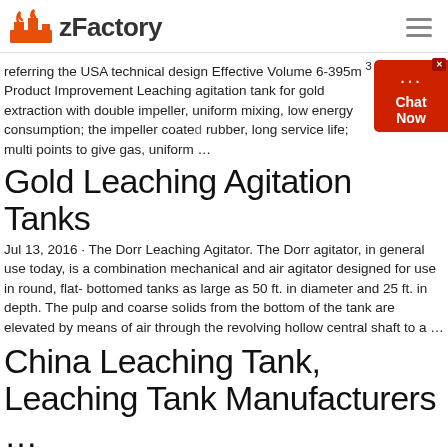zFactory
referring the USA technical design Effective Volume 6-395m 3 Product Improvement Leaching agitation tank for gold extraction with double impeller, uniform mixing, low energy consumption; the impeller coated rubber, long service life; multi points to give gas, uniform ...
Gold Leaching Agitation Tanks
Jul 13, 2016 · The Dorr Leaching Agitator. The Dorr agitator, in general use today, is a combination mechanical and air agitator designed for use in round, flat- bottomed tanks as large as 50 ft. in diameter and 25 ft. in depth. The pulp and coarse solids from the bottom of the tank are elevated by means of air through the revolving hollow central shaft to a ...
China Leaching Tank, Leaching Tank Manufacturers ...
China Leaching Tank manufacturers - Select 2021 high quality Leaching Tank products in best price from certified Chinese Mining Machine, Mining